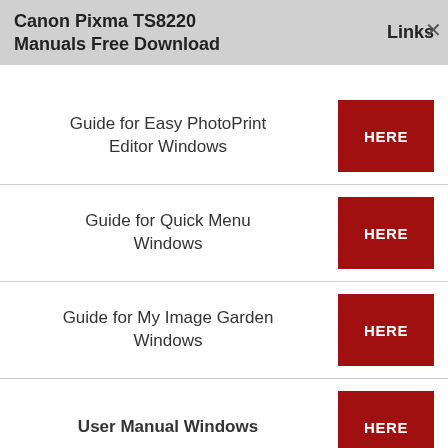Canon Pixma TS8220 Manuals Free Download    Links
Guide for Easy PhotoPrint Editor Windows
HERE
Guide for Quick Menu Windows
HERE
Guide for My Image Garden Windows
HERE
User Manual Windows
HERE